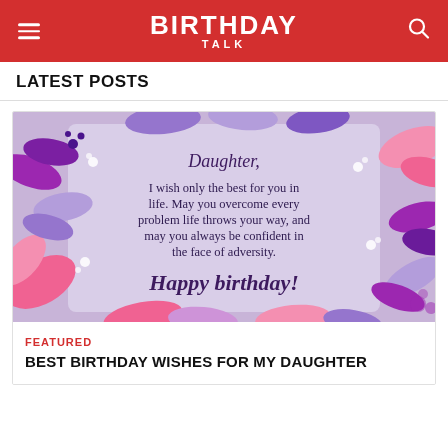BIRTHDAY TALK
LATEST POSTS
[Figure (illustration): Birthday card with floral decorations (purple, pink, and lavender leaves/flowers) surrounding a light lavender center with text: Daughter, I wish only the best for you in life. May you overcome every problem life throws your way, and may you always be confident in the face of adversity. Happy birthday!]
FEATURED
BEST BIRTHDAY WISHES FOR MY DAUGHTER